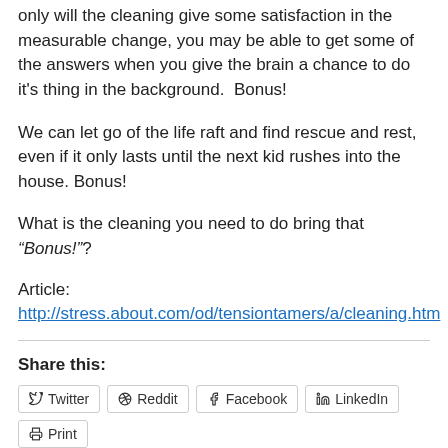only will the cleaning give some satisfaction in the measurable change, you may be able to get some of the answers when you give the brain a chance to do it's thing in the background.  Bonus!
We can let go of the life raft and find rescue and rest, even if it only lasts until the next kid rushes into the house. Bonus!
What is the cleaning you need to do bring that “Bonus!”?
Article:
http://stress.about.com/od/tensiontamers/a/cleaning.htm
Share this:
Twitter
Reddit
Facebook
LinkedIn
Print